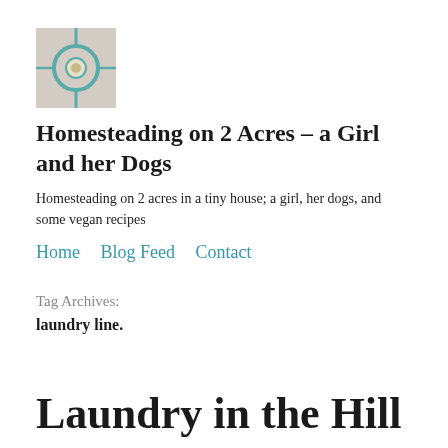[Figure (logo): Small square photo showing a circular macrame or rope craft item with teal/blue cord on a light wall background]
Homesteading on 2 Acres – a Girl and her Dogs
Homesteading on 2 acres in a tiny house; a girl, her dogs, and some vegan recipes
Home   Blog Feed   Contact
Tag Archives:
laundry line.
Laundry in the Hill